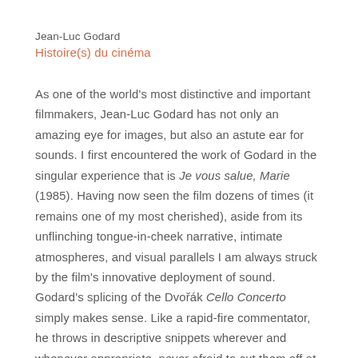Jean-Luc Godard
Histoire(s) du cinéma
As one of the world's most distinctive and important filmmakers, Jean-Luc Godard has not only an amazing eye for images, but also an astute ear for sounds. I first encountered the work of Godard in the singular experience that is Je vous salue, Marie (1985). Having now seen the film dozens of times (it remains one of my most cherished), aside from its unflinching tongue-in-cheek narrative, intimate atmospheres, and visual parallels I am always struck by the film's innovative deployment of sound. Godard's splicing of the Dvořák Cello Concerto simply makes sense. Like a rapid-fire commentator, he throws in descriptive snippets wherever and whenever appropriate, never afraid to cut them off at their most